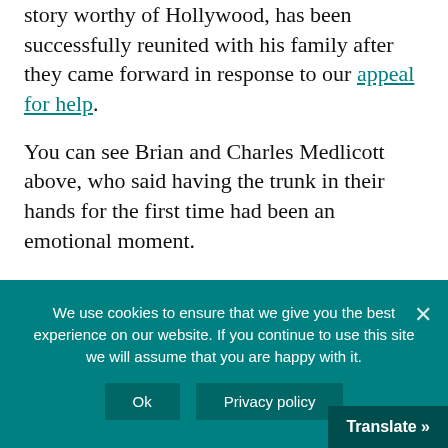story worthy of Hollywood, has been successfully reunited with his family after they came forward in response to our appeal for help.
You can see Brian and Charles Medlicott above, who said having the trunk in their hands for the first time had been an emotional moment.
The well-aged, wooden trunk, engraved with the name Medlicott and 'RFC', belonged to the flying ace Harold William Medlicott, who was from Ealing. After building a reputation in the Royal Flying Corps for shooting down enemy planes, he went on to gain further repute and infamy in equal measure, as an expert at
We use cookies to ensure that we give you the best experience on our website. If you continue to use this site we will assume that you are happy with it.
Ok
Privacy policy
Translate »